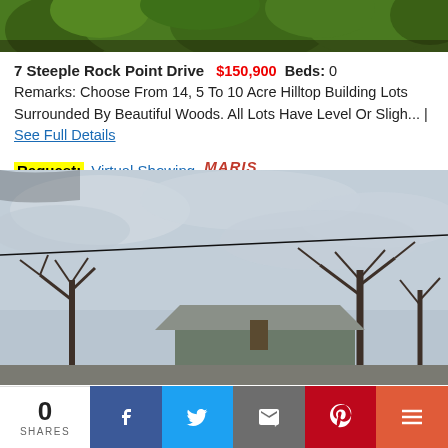[Figure (photo): Top portion of a property photo showing green foliage/trees at the top edge]
7 Steeple Rock Point Drive  $150,900  Beds: 0
Remarks: Choose From 14, 5 To 10 Acre Hilltop Building Lots Surrounded By Beautiful Woods. All Lots Have Level Or Sligh... | See Full Details
Request: Virtual Showing MARIS MLS
[Figure (photo): Street-level photo taken through a car window showing bare winter trees against a cloudy grey sky, with a small house/building visible in the lower portion]
0 SHARES | Facebook | Twitter | Email | Pinterest | More